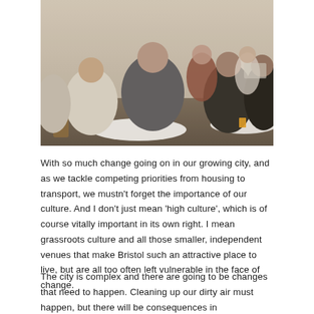[Figure (photo): People sitting at round tables in a meeting or workshop, viewed from behind, in a room with warm lighting.]
With so much change going on in our growing city, and as we tackle competing priorities from housing to transport,  we mustn't forget the importance of our culture. And I don't just mean 'high culture', which is of course vitally important in its own right. I mean grassroots culture and all those smaller, independent venues that make Bristol such an attractive place to live, but are all too often left vulnerable in the face of change.
The city is complex and there are going to be changes that need to happen. Cleaning up our dirty air must happen, but there will be consequences in implementing the measures we need to take. That's why we need a range of voices at the